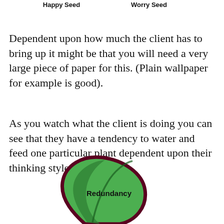Happy Seed        Worry Seed
Dependent upon how much the client has to bring up it might be that you will need a very large piece of paper for this. (Plain wallpaper for example is good).
As you watch what the client is doing you can see that they have a tendency to water and feed one particular plant dependent upon their thinking style.
[Figure (illustration): A green leaf-shaped plant illustration labeled 'Redundancy' in bold black text, with a dark maroon/purple outline and a darker green vein pattern inside.]